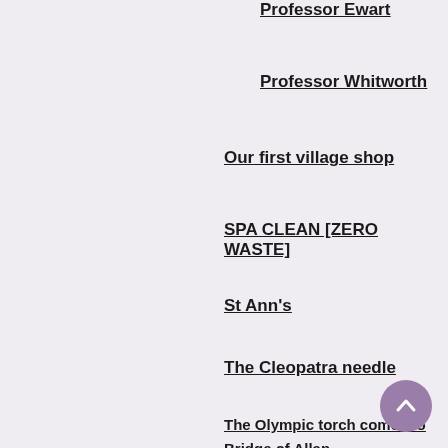Professor Ewart
Professor Whitworth
Our first village shop
SPA CLEAN [ZERO WASTE]
St Ann's
The Cleopatra needle
The Olympic torch comes to Bridge of Allan
The Well House, Bridge of Allan
The Ochils